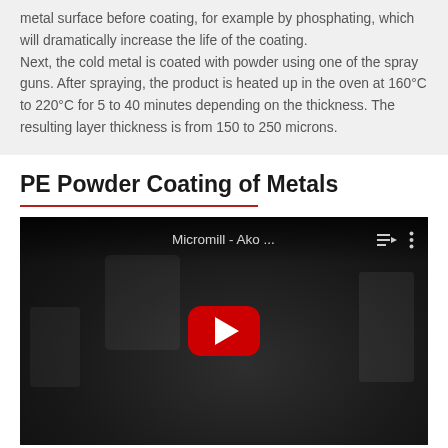metal surface before coating, for example by phosphating, which will dramatically increase the life of the coating.
Next, the cold metal is coated with powder using one of the spray guns. After spraying, the product is heated up in the oven at 160°C to 220°C for 5 to 40 minutes depending on the thickness. The resulting layer thickness is from 150 to 250 microns.
PE Powder Coating of Metals
[Figure (screenshot): Embedded YouTube video thumbnail showing 'Micromill - Ako ...' with a red YouTube play button overlaid on a dark image of an oven/lab equipment. Video controls and menu icons visible in top right.]